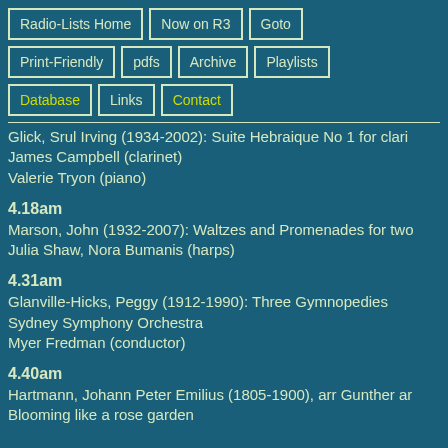Radio-Lists Home
Now on R3
Goto
Print-Friendly
pdfs
Archive
Playlists
Database
Links
Contact
Glick, Srul Irving (1934-2002): Suite Hebraique No 1 for clarinet
James Campbell (clarinet)
Valerie Tryon (piano)
4.18am
Marson, John (1932-2007): Waltzes and Promenades for two harps
Julia Shaw, Nora Bumanis (harps)
4.31am
Glanville-Hicks, Peggy (1912-1990): Three Gymnopedies
Sydney Symphony Orchestra
Myer Fredman (conductor)
4.40am
Hartmann, Johann Peter Emilius (1805-1900), arr Gunther and...
Blooming like a rose garden